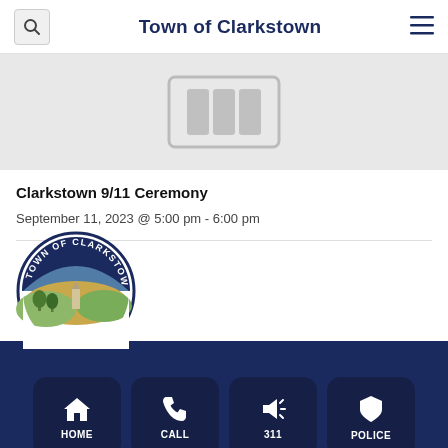Town of Clarkstown
[Figure (other): Gray placeholder image with a building/table icon in the center]
Clarkstown 9/11 Ceremony
September 11, 2023 @ 5:00 pm - 6:00 pm
[Figure (logo): Town of Clarkstown circular seal/logo showing a landscape with a church steeple and hills]
HOME  CALL  311  POLICE